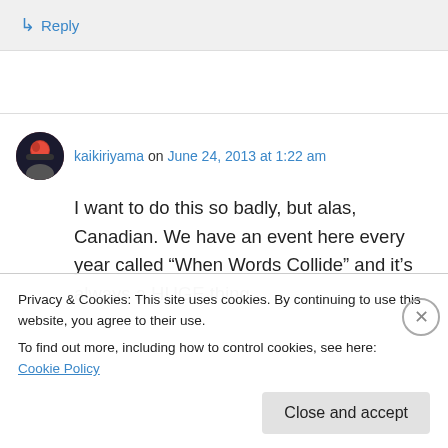↳ Reply
kaikiriyama on June 24, 2013 at 1:22 am
I want to do this so badly, but alas, Canadian. We have an event here every year called “When Words Collide” and it’s always a HUGE thing.
Privacy & Cookies: This site uses cookies. By continuing to use this website, you agree to their use.
To find out more, including how to control cookies, see here: Cookie Policy
Close and accept